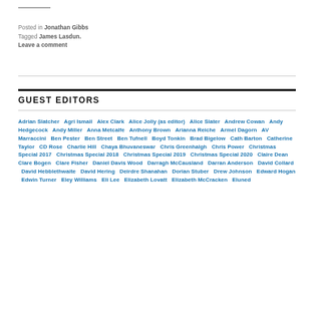Posted in Jonathan Gibbs
Tagged James Lasdun.
Leave a comment
GUEST EDITORS
Adrian Slatcher  Agri Ismail  Alex Clark  Alice Jolly (as editor)  Alice Slater  Andrew Cowan  Andy Hedgecock  Andy Miller  Anna Metcalfe  Anthony Brown  Arianna Reiche  Armel Dagorn  AV Marraccini  Ben Pester  Ben Street  Ben Tufnell  Boyd Tonkin  Brad Bigelow  Cath Barton  Catherine Taylor  CD Rose  Charlie Hill  Chaya Bhuvaneswar  Chris Greenhalgh  Chris Power  Christmas Special 2017  Christmas Special 2018  Christmas Special 2019  Christmas Special 2020  Claire Dean  Clare Bogen  Clare Fisher  Daniel Davis Wood  Darragh McCausland  Darran Anderson  David Collard  David Hebblethwaite  David Hering  Deirdre Shanahan  Dorian Stuber  Drew Johnson  Edward Hogan  Edwin Turner  Eley Williams  Eli Lee  Elizabeth Lovatt  Elizabeth McCracken  Eluned